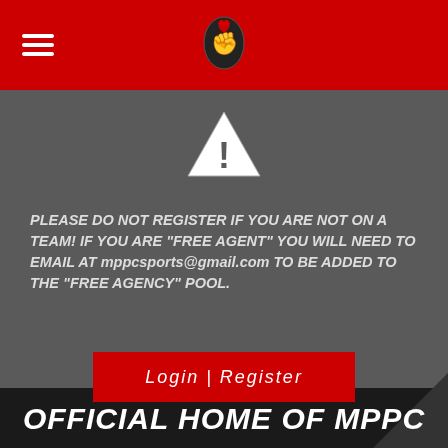MPPC sports website header with logo and hamburger menu
[Figure (illustration): Warning triangle icon with exclamation mark, white on gray background]
PLEASE DO NOT REGISTER IF YOU ARE NOT ON A TEAM! IF YOU ARE "FREE AGENT" YOU WILL NEED TO EMAIL AT mppcsports@gmail.com TO BE ADDED TO THE "FREE AGENCY" POOL.
Login  |  Register
OFFICIAL HOME OF MPPC